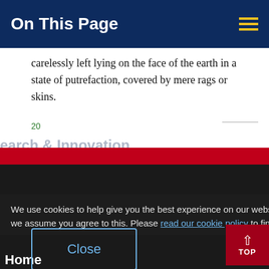On This Page
carelessly left lying on the face of the earth in a state of putrefaction, covered by mere rags or skins.
20
earch & Innovation
[Figure (screenshot): UCC university website navigation screenshot showing dark nav menu with items: cover UCC, ools & Departments, iness & Enterprise, mni & Development, Home; overlaid by cookie consent banner with Close button and TOP scroll button]
We use cookies to help give you the best experience on our website. By continuing without changing your cookie settings, we assume you agree to this. Please read our cookie policy to find out more.
Close
cover UCC
ools & Departments
iness & Enterprise
mni & Development
Home